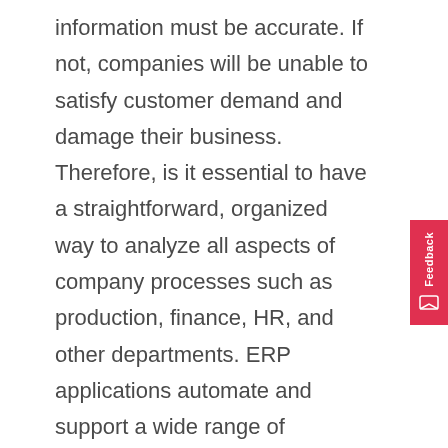information must be accurate. If not, companies will be unable to satisfy customer demand and damage their business. Therefore, is it essential to have a straightforward, organized way to analyze all aspects of company processes such as production, finance, HR, and other departments. ERP applications automate and support a wide range of business operations and should be incorporated to maximize a company's efficiency. But to be even more efficient, the ERP system should be connected to a real-time production monitoring system. Let's see why.